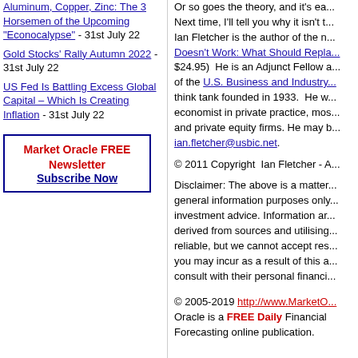Aluminum, Copper, Zinc: The 3 Horsemen of the Upcoming "Econocalypse" - 31st July 22
Gold Stocks' Rally Autumn 2022 - 31st July 22
US Fed Is Battling Excess Global Capital – Which Is Creating Inflation - 31st July 22
Market Oracle FREE Newsletter Subscribe Now
Or so goes the theory, and it's ea... Next time, I'll tell you why it isn't t... Ian Fletcher is the author of the n... Doesn't Work: What Should Repla... $24.95) He is an Adjunct Fellow a... of the U.S. Business and Industry... think tank founded in 1933. He w... economist in private practice, mos... and private equity firms. He may b... ian.fletcher@usbic.net.
© 2011 Copyright Ian Fletcher - A...
Disclaimer: The above is a matter... general information purposes only... investment advice. Information ar... derived from sources and utilising... reliable, but we cannot accept res... you may incur as a result of this a... consult with their personal financi...
© 2005-2019 http://www.MarketO... Oracle is a FREE Daily Financial Forecasting online publication.